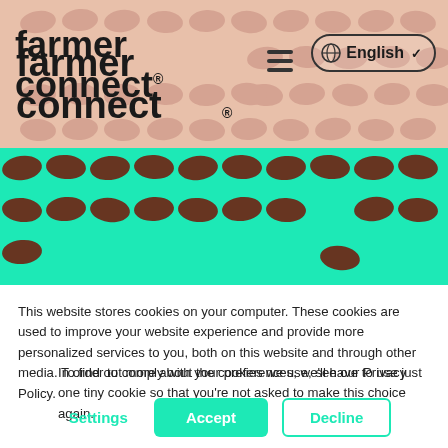[Figure (illustration): Farmer Connect website header with logo, hamburger menu icon, English language button, and decorative coffee bean pattern on teal/salmon background]
This website stores cookies on your computer. These cookies are used to improve your website experience and provide more personalized services to you, both on this website and through other media. To find out more about the cookies we use, see our Privacy Policy.
In order to comply with your preferences, we'll have to use just one tiny cookie so that you're not asked to make this choice again.
Settings  Accept  Decline